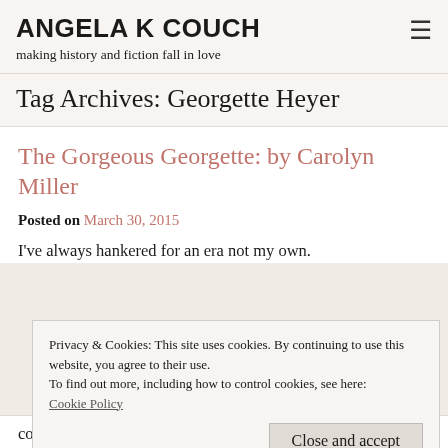ANGELA K COUCH
making history and fiction fall in love
Tag Archives: Georgette Heyer
The Gorgeous Georgette: by Carolyn Miller
Posted on March 30, 2015
I've always hankered for an era not my own.
Privacy & Cookies: This site uses cookies. By continuing to use this website, you agree to their use.
To find out more, including how to control cookies, see here:
Cookie Policy
course, my favorite (perhaps because of her